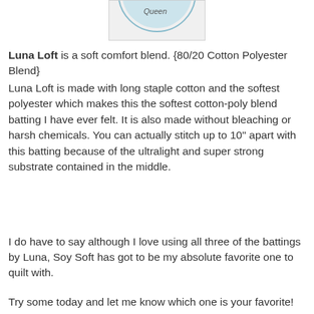[Figure (photo): Partial product image showing a circular batting package label, partially cropped, with the word 'Queen' visible.]
Luna Loft is a soft comfort blend. {80/20 Cotton Polyester Blend}
Luna Loft is made with long staple cotton and the softest polyester which makes this the softest cotton-poly blend batting I have ever felt. It is also made without bleaching or harsh chemicals. You can actually stitch up to 10" apart with this batting because of the ultralight and super strong substrate contained in the middle.
I do have to say although I love using all three of the battings by Luna, Soy Soft has got to be my absolute favorite one to quilt with.
Try some today and let me know which one is your favorite!